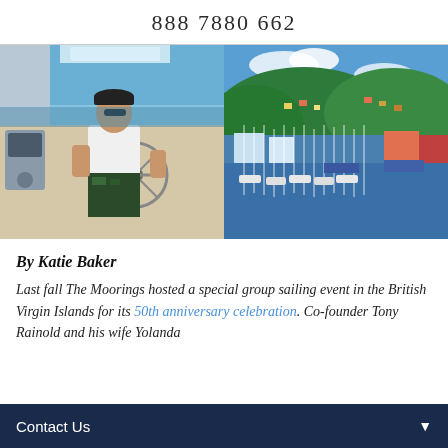888 7880 662
[Figure (photo): Man in white shirt and cap steering a boat at the helm on a clear day with blue water in background]
[Figure (photo): Aerial view of a marina with many sailboats and a tropical hillside town in the background, likely British Virgin Islands]
By Katie Baker
Last fall The Moorings hosted a special group sailing event in the British Virgin Islands for its 50th anniversary celebration. Co-founder Tony Rainold and his wife Yolanda